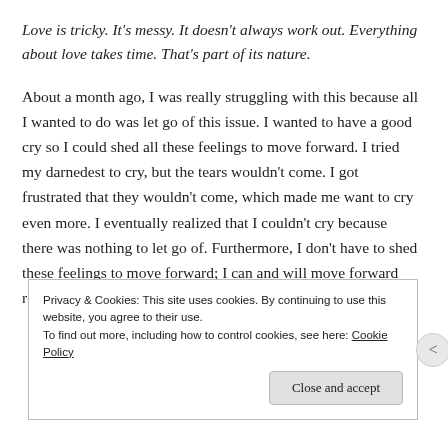Love is tricky. It's messy. It doesn't always work out. Everything about love takes time. That's part of its nature.
About a month ago, I was really struggling with this because all I wanted to do was let go of this issue. I wanted to have a good cry so I could shed all these feelings to move forward. I tried my darnedest to cry, but the tears wouldn't come. I got frustrated that they wouldn't come, which made me want to cry even more. I eventually realized that I couldn't cry because there was nothing to let go of. Furthermore, I don't have to shed these feelings to move forward; I can and will move forward regardless of their existence...that's what I'm
Privacy & Cookies: This site uses cookies. By continuing to use this website, you agree to their use.
To find out more, including how to control cookies, see here: Cookie Policy